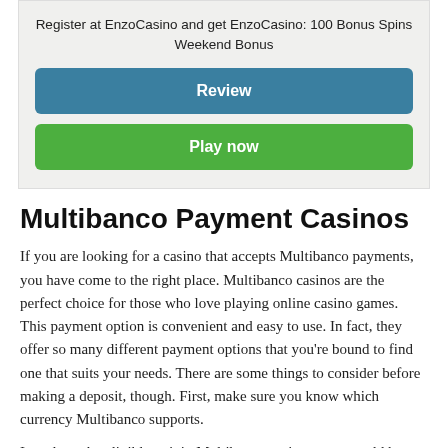Register at EnzoCasino and get EnzoCasino: 100 Bonus Spins Weekend Bonus
Review
Play now
Multibanco Payment Casinos
If you are looking for a casino that accepts Multibanco payments, you have come to the right place. Multibanco casinos are the perfect choice for those who love playing online casino games. This payment option is convenient and easy to use. In fact, they offer so many different payment options that you're bound to find one that suits your needs. There are some things to consider before making a deposit, though. First, make sure you know which currency Multibanco supports.
In order to be eligible to join Multibanco casinos, you would be...